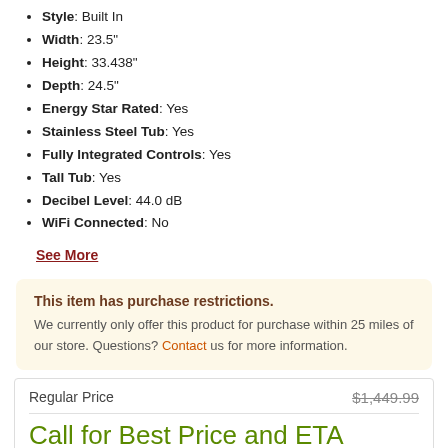Style: Built In
Width: 23.5"
Height: 33.438"
Depth: 24.5"
Energy Star Rated: Yes
Stainless Steel Tub: Yes
Fully Integrated Controls: Yes
Tall Tub: Yes
Decibel Level: 44.0 dB
WiFi Connected: No
See More
This item has purchase restrictions. We currently only offer this product for purchase within 25 miles of our store. Questions? Contact us for more information.
| Regular Price | $1,449.99 |
| --- | --- |
| Call for Best Price and ETA |  |
| Rebate Available | See Details |